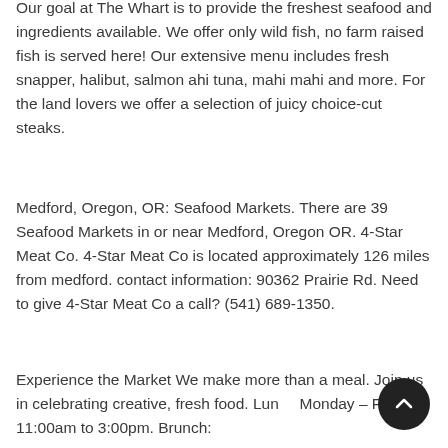Our goal at The Whart is to provide the freshest seafood and ingredients available. We offer only wild fish, no farm raised fish is served here! Our extensive menu includes fresh snapper, halibut, salmon ahi tuna, mahi mahi and more. For the land lovers we offer a selection of juicy choice-cut steaks.
Medford, Oregon, OR: Seafood Markets. There are 39 Seafood Markets in or near Medford, Oregon OR. 4-Star Meat Co. 4-Star Meat Co is located approximately 126 miles from medford. contact information: 90362 Prairie Rd. Need to give 4-Star Meat Co a call? (541) 689-1350.
Experience the Market We make more than a meal. Join us in celebrating creative, fresh food. Lunch Monday – Friday 11:00am to 3:00pm. Brunch: